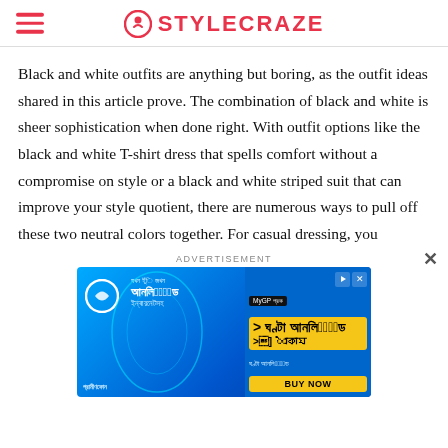STYLECRAZE
Black and white outfits are anything but boring, as the outfit ideas shared in this article prove. The combination of black and white is sheer sophistication when done right. With outfit options like the black and white T-shirt dress that spells comfort without a compromise on style or a black and white striped suit that can improve your style quotient, there are numerous ways to pull off these two neutral colors together. For casual dressing, you
ADVERTISEMENT
[Figure (photo): Grameenphone advertisement banner showing a person with glowing blue circular design, promoting unlimited internet data for 34 taka with Bengali text and MyGP branding]